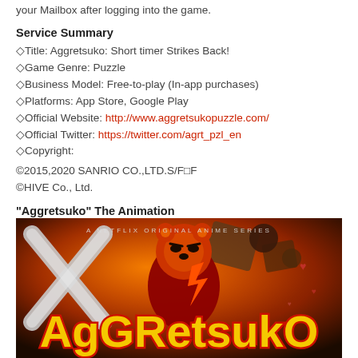your Mailbox after logging into the game.
Service Summary
◇Title: Aggretsuko: Short timer Strikes Back!
◇Game Genre: Puzzle
◇Business Model: Free-to-play (In-app purchases)
◇Platforms: App Store, Google Play
◇Official Website: http://www.aggretsukopuzzle.com/
◇Official Twitter: https://twitter.com/agrt_pzl_en
◇Copyright:
©2015,2020 SANRIO CO.,LTD.S/F□F
©HIVE Co., Ltd.
"Aggretsuko" The Animation
Aggretsuko, a Netflix original animation series, was first released in 2018. Season 2 was released in 2019, and season 3 will be coming soon exclusively on Netflix August 27th.
[Figure (photo): Aggretsuko Netflix original anime series promotional image showing the character in an action pose with the Aggretsuko logo]